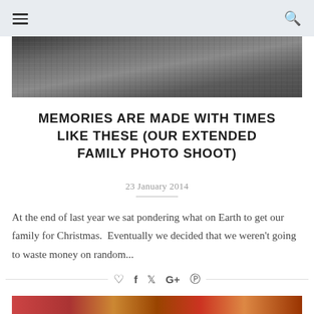Navigation menu and search icons
[Figure (photo): Black and white photograph showing people (family) sitting/lying on grass, cropped to show lower bodies and legs]
MEMORIES ARE MADE WITH TIMES LIKE THESE (OUR EXTENDED FAMILY PHOTO SHOOT)
23 January 2014
At the end of last year we sat pondering what on Earth to get our family for Christmas.  Eventually we decided that we weren't going to waste money on random...
[Figure (photo): Partial colour photograph visible at the bottom of the page, showing people]